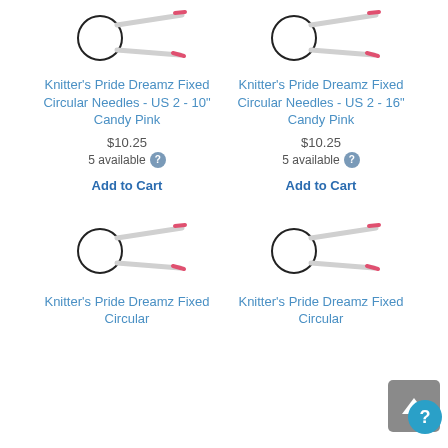[Figure (illustration): Circular knitting needle illustration - top left product]
Knitter's Pride Dreamz Fixed Circular Needles - US 2 - 10" Candy Pink
$10.25
5 available
Add to Cart
[Figure (illustration): Circular knitting needle illustration - top right product]
Knitter's Pride Dreamz Fixed Circular Needles - US 2 - 16" Candy Pink
$10.25
5 available
Add to Cart
[Figure (illustration): Circular knitting needle illustration - bottom left product]
Knitter's Pride Dreamz Fixed Circular
[Figure (illustration): Circular knitting needle illustration - bottom right product]
Knitter's Pride Dreamz Fixed Circular